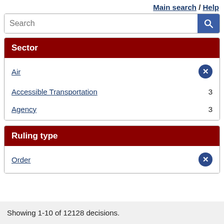Main search / Help
Search
Sector
Air [selected, remove]
Accessible Transportation 3
Agency 3
Ruling type
Order [selected, remove]
Showing 1-10 of 12128 decisions.